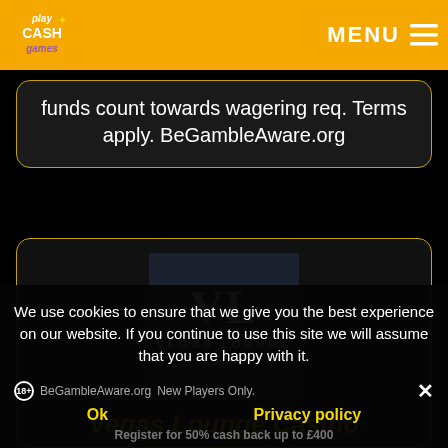PlayCashGames MENU
funds count towards wagering req. Terms apply. BeGambleAware.org
[Figure (logo): Vegas Lounge Casino logo — dark navy square with large 'VL' letters and 'VEGAS LOUNGE Casino' text below]
Vegas Lounge Casino
50% UP TO £400
We use cookies to ensure that we give you the best experience on our website. If you continue to use this site we will assume that you are happy with it.
18+ BeGambleAware.org New Players Only.
Ok
Privacy policy
Register for 50% cash back up to £400